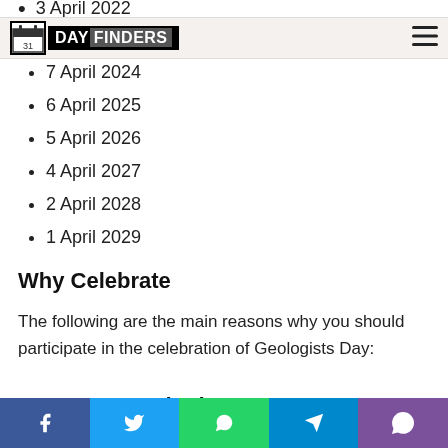3 April 2022
DAY FINDERS
7 April 2024
6 April 2025
5 April 2026
4 April 2027
2 April 2028
1 April 2029
Why Celebrate
The following are the main reasons why you should participate in the celebration of Geologists Day:
To Honor Geologists